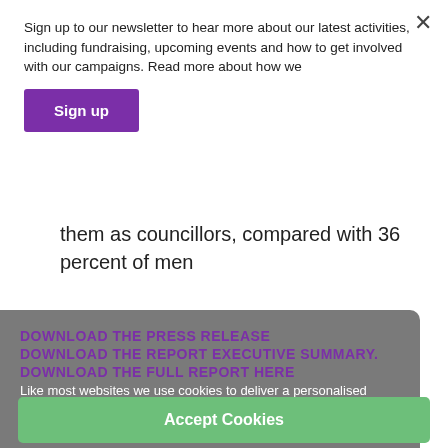Sign up to our newsletter to hear more about our latest activities, including fundraising, upcoming events and how to get involved with our campaigns. Read more about how we
Sign up
them as councillors, compared with 36 percent of men
DOWNLOAD THE PRESS RELEASE
DOWNLOAD THE REPORT EXECUTIVE SUMMARY.
DOWNLOAD THE FULL REPORT HERE
Like most websites we use cookies to deliver a personalised service. You can find out how we use cookies and what data we process when you visit our site in our Privacy Policy.
For more information, infographics or interviews, contact:
Accept Cookies
FRCM COMMUNICATIONS PRESS OFFICE